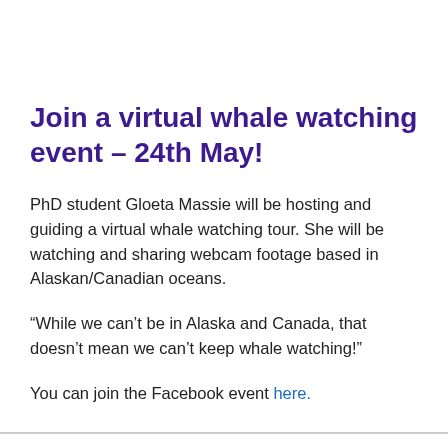Join a virtual whale watching event – 24th May!
PhD student Gloeta Massie will be hosting and guiding a virtual whale watching tour. She will be watching and sharing webcam footage based in Alaskan/Canadian oceans.
“While we can’t be in Alaska and Canada, that doesn’t mean we can’t keep whale watching!”
You can join the Facebook event here.